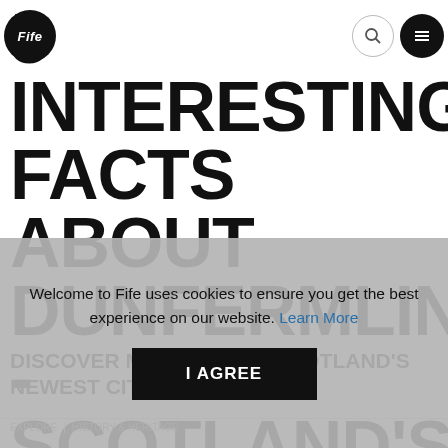Fife
5 INTERESTING FACTS ABOUT DUNFERMLINE - SCOTLAND'S NEWEST CITY
DISCOVER MORE ABOUT SCOTLAND'S NEWEST CITY
Welcome to Fife uses cookies to ensure you get the best experience on our website. Learn More
I AGREE